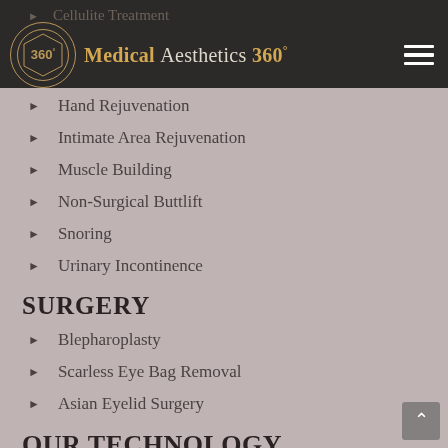Medical Aesthetics 360°
Cellulite Treatment
Excessive Sweating
Hair Loss Treatment
Hand Rejuvenation
Intimate Area Rejuvenation
Muscle Building
Non-Surgical Buttlift
Snoring
Urinary Incontinence
SURGERY
Blepharoplasty
Scarless Eye Bag Removal
Asian Eyelid Surgery
OUR TECHNOLOGY